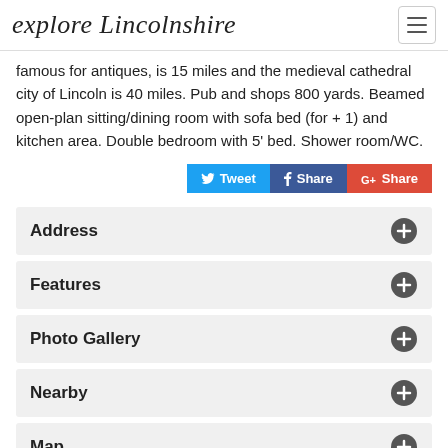explore Lincolnshire
famous for antiques, is 15 miles and the medieval cathedral city of Lincoln is 40 miles. Pub and shops 800 yards. Beamed open-plan sitting/dining room with sofa bed (for + 1) and kitchen area. Double bedroom with 5' bed. Shower room/WC.
Tweet  Share  G+Share
Address
Features
Photo Gallery
Nearby
Map